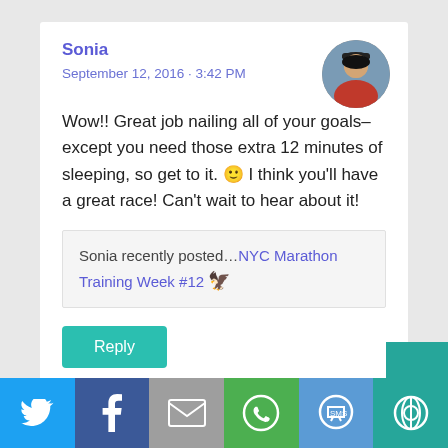Sonia
September 12, 2016 - 3:42 PM
[Figure (photo): Circular avatar photo of Sonia]
Wow!! Great job nailing all of your goals–except you need those extra 12 minutes of sleeping, so get to it. 🙂 I think you'll have a great race! Can't wait to hear about it!
Sonia recently posted…NYC Marathon Training Week #12 🦅
Reply
[Figure (screenshot): Social share bar with Twitter, Facebook, Email, WhatsApp, SMS, and other share buttons]